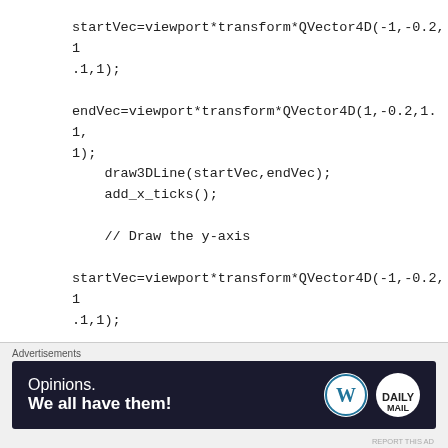startVec=viewport*transform*QVector4D(-1,-0.2,1.1,1);

endVec=viewport*transform*QVector4D(1,-0.2,1.1,1);
    draw3DLine(startVec,endVec);
    add_x_ticks();

    // Draw the y-axis

startVec=viewport*transform*QVector4D(-1,-0.2,1.1,1);

endVec=viewport*transform*QVector4D(-1,1.4,1.1,1);
    draw3DLine(startVec,endVec);
    add_y_ticks();

    // Draw the z-axis
[Figure (other): Advertisement banner for WordPress/Daily Mail: 'Opinions. We all have them!']